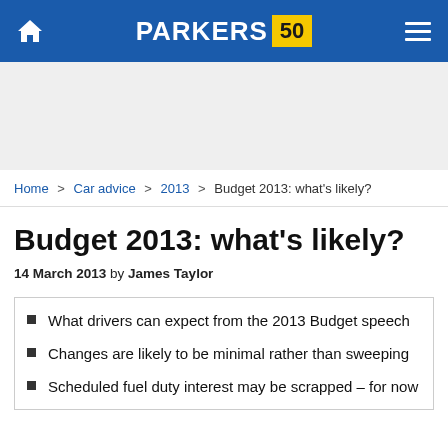PARKERS 50
Home > Car advice > 2013 > Budget 2013: what's likely?
Budget 2013: what's likely?
14 March 2013 by James Taylor
What drivers can expect from the 2013 Budget speech
Changes are likely to be minimal rather than sweeping
Scheduled fuel duty interest may be scrapped – for now